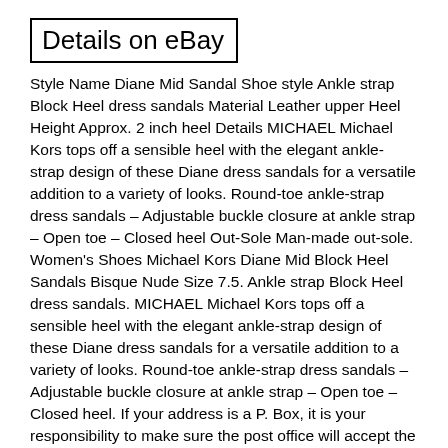Details on eBay
Style Name Diane Mid Sandal Shoe style Ankle strap Block Heel dress sandals Material Leather upper Heel Height Approx. 2 inch heel Details MICHAEL Michael Kors tops off a sensible heel with the elegant ankle-strap design of these Diane dress sandals for a versatile addition to a variety of looks. Round-toe ankle-strap dress sandals – Adjustable buckle closure at ankle strap – Open toe – Closed heel Out-Sole Man-made out-sole. Women's Shoes Michael Kors Diane Mid Block Heel Sandals Bisque Nude Size 7.5. Ankle strap Block Heel dress sandals. MICHAEL Michael Kors tops off a sensible heel with the elegant ankle-strap design of these Diane dress sandals for a versatile addition to a variety of looks. Round-toe ankle-strap dress sandals – Adjustable buckle closure at ankle strap – Open toe – Closed heel. If your address is a P. Box, it is your responsibility to make sure the post office will accept the box. We answer questions as soon as possible. Auctiva offers Free Image Hosting and Editing. Auctiva gets you noticed! Track Page Views With. Auctiva's FREE Counter. This item is in the category "Clothing, Shoes & Accessories\Women\Women's Shoes\Heels". The seller is "bestshoestore" and is located in